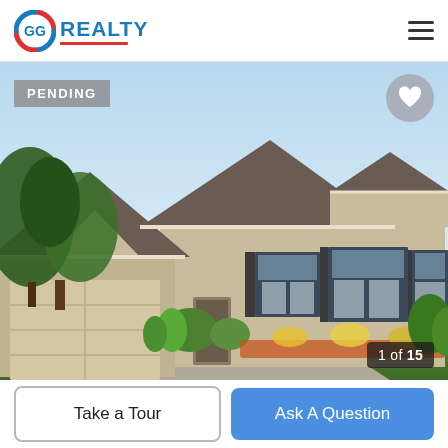GG REALTY
[Figure (photo): Exterior photo of a single-story craftsman-style home with tan/beige stucco, two-car garage, gabled rooflines, large front windows with shutters, and colorful flowering landscaping. Sky is light blue. Badge reads PENDING. Counter shows 1 of 15.]
PENDING
1 of 15
Take a Tour
Ask A Question